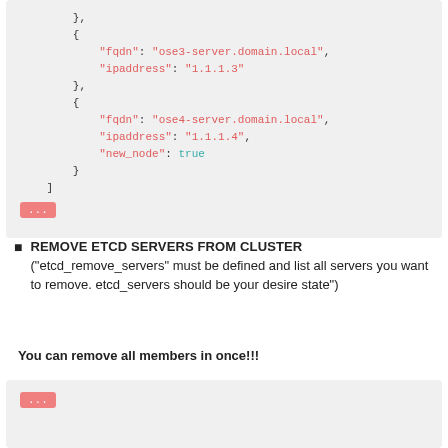[Figure (screenshot): Code block showing JSON with fqdn/ipaddress/new_node fields for ose3 and ose4 servers, with a red '...' button]
REMOVE ETCD SERVERS FROM CLUSTER
("etcd_remove_servers" must be defined and list all servers you want to remove. etcd_servers should be your desire state")
You can remove all members in once!!!
[Figure (screenshot): Code block with red '...' button, content cut off]